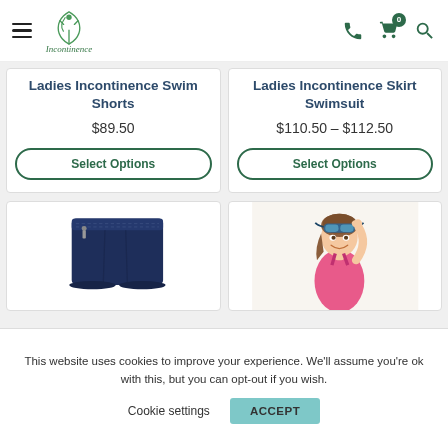Eco Incontinence – navigation bar with hamburger menu, logo, phone, cart (0), search icons
Ladies Incontinence Swim Shorts
$89.50
Select Options
Ladies Incontinence Skirt Swimsuit
$110.50 – $112.50
Select Options
[Figure (photo): Navy blue ladies incontinence swim shorts product photo]
[Figure (photo): Young girl swimmer wearing pink swimsuit and goggles on head, smiling]
This website uses cookies to improve your experience. We'll assume you're ok with this, but you can opt-out if you wish.
Cookie settings
ACCEPT